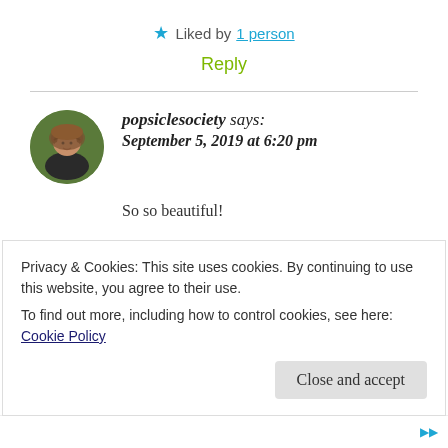★ Liked by 1 person
Reply
popsiclesociety says: September 5, 2019 at 6:20 pm
So so beautiful!
Privacy & Cookies: This site uses cookies. By continuing to use this website, you agree to their use. To find out more, including how to control cookies, see here: Cookie Policy
Close and accept